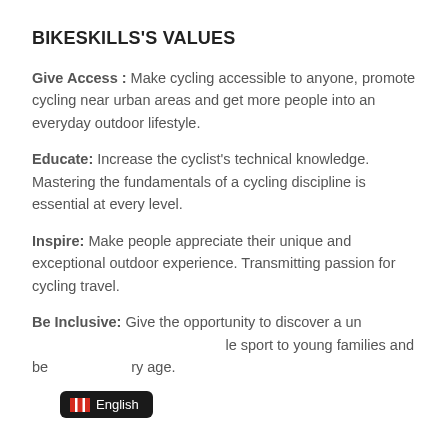BIKESKILLS'S VALUES
Give Access : Make cycling accessible to anyone, promote cycling near urban areas and get more people into an everyday outdoor lifestyle.
Educate: Increase the cyclist's technical knowledge. Mastering the fundamentals of a cycling discipline is essential at every level.
Inspire: Make people appreciate their unique and exceptional outdoor experience. Transmitting passion for cycling travel.
Be Inclusive: Give the opportunity to discover a unique sport to young families and beginners of every age.